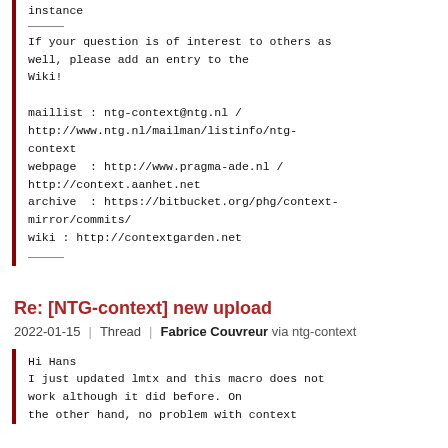instance
If your question is of interest to others as well, please add an entry to the Wiki!
maillist : ntg-context@ntg.nl / http://www.ntg.nl/mailman/listinfo/ntg-context
webpage  : http://www.pragma-ade.nl / http://context.aanhet.net
archive  : https://bitbucket.org/phg/context-mirror/commits/
wiki : http://contextgarden.net
Re: [NTG-context] new upload
2022-01-15 | Thread | Fabrice Couvreur via ntg-context
Hi Hans
I just updated lmtx and this macro does not work although it did before. On the other hand, no problem with context